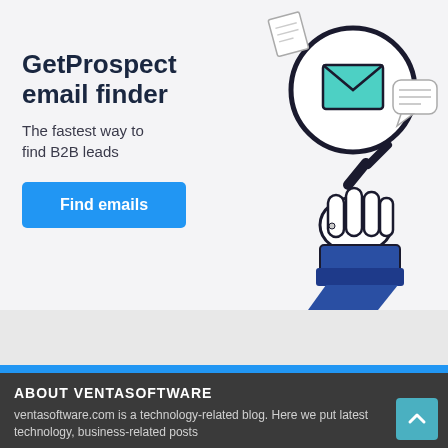[Figure (illustration): GetProspect email finder advertisement with a hand holding a magnifying glass over an envelope icon, and various floating icons including a speech bubble and paper airplane.]
GetProspect email finder
The fastest way to find B2B leads
Find emails
ABOUT VENTASOFTWARE
ventasoftware.com is a technology-related blog. Here we put latest technology, business-related posts